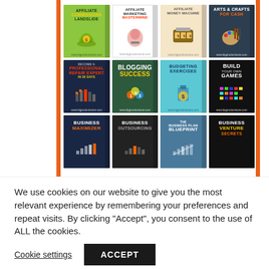[Figure (illustration): Grid of 12 book covers arranged in 3 rows and 4 columns on a white background with orange vertical border bars. Books include: Affiliate Commissions Landslide, Affiliate Marketing Mastermind, Affiliate Money Machine, Arts & Crafts for Cash, Become a Professional Repair Expert in 30 Days, Blogging Success, Budgeting Exercises, Build Your Own Games, Business Maximizer, Business Outsourcing, The Business Plan Blueprint, Business Venture Secrets.]
We use cookies on our website to give you the most relevant experience by remembering your preferences and repeat visits. By clicking “Accept”, you consent to the use of ALL the cookies.
Cookie settings
ACCEPT